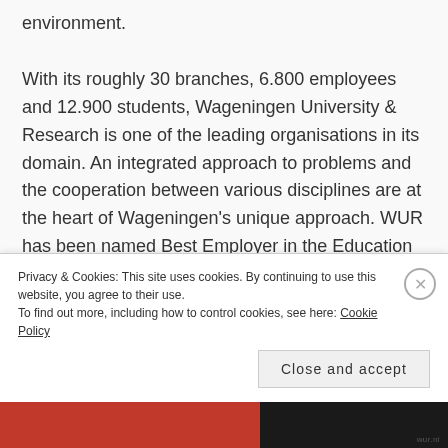environment.
With its roughly 30 branches, 6.800 employees and 12.900 students, Wageningen University & Research is one of the leading organisations in its domain. An integrated approach to problems and the cooperation between various disciplines are at the heart of Wageningen's unique approach. WUR has been named Best Employer in the Education category
Privacy & Cookies: This site uses cookies. By continuing to use this website, you agree to their use.
To find out more, including how to control cookies, see here: Cookie Policy
Close and accept